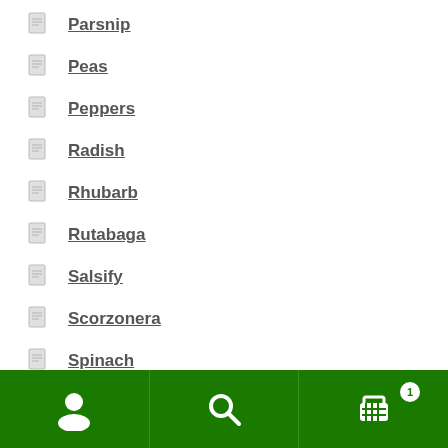Parsnip
Peas
Peppers
Radish
Rhubarb
Rutabaga
Salsify
Scorzonera
Spinach
Squash
Swiss Chard
Tomato
Navigation bar with user, search, and cart icons